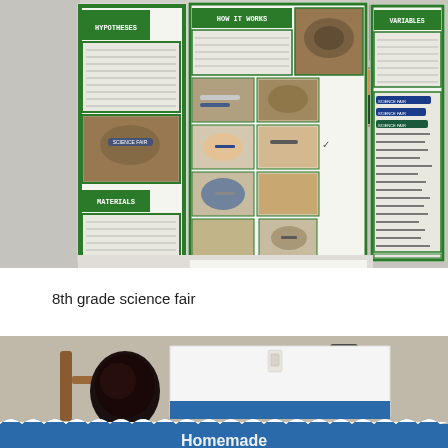[Figure (photo): Photo of an 8th grade science fair project display board with green trim. The tri-fold board shows sections labeled HYPOTHESES, HOW IT WORKS, VARIABLES, MATERIALS, with multiple photographs of what appears to be an archaeology or soil science project. Other science fair boards and artwork are visible in the background.]
8th grade science fair
[Figure (photo): Partial photo of another science fair display with a blue scalloped border at the bottom. A student with dark hair is visible from behind, and the word 'Homemade' is partially visible at the bottom of the image.]